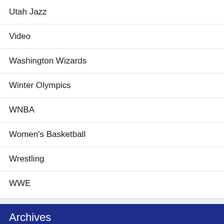Utah Jazz
Video
Washington Wizards
Winter Olympics
WNBA
Women's Basketball
Wrestling
WWE
Archives
August 2022
July 2022